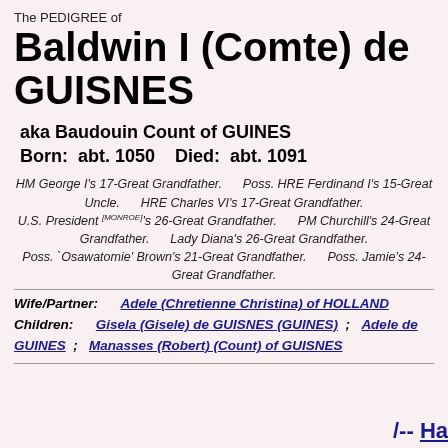The PEDIGREE of
Baldwin I (Comte) de GUISNES
aka Baudouin Count of GUINES
Born:  abt. 1050    Died:  abt. 1091
HM George I's 17-Great Grandfather. Poss. HRE Ferdinand I's 15-Great Uncle. HRE Charles VI's 17-Great Grandfather. U.S. President [MONROE]'s 26-Great Grandfather. PM Churchill's 24-Great Grandfather. Lady Diana's 26-Great Grandfather. Poss. `Osawatomie' Brown's 21-Great Grandfather. Poss. Jamie's 24-Great Grandfather.
Wife/Partner: Adele (Chretienne Christina) of HOLLAND   Children: Gisela (Gisele) de GUISNES (GUINES)  ;  Adele de GUINES  ;  Manasses (Robert) (Count) of GUISNES
/-- Ha